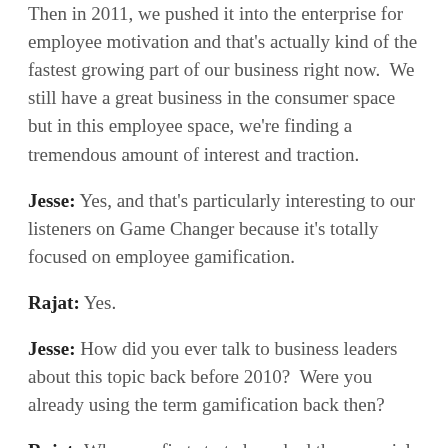Then in 2011, we pushed it into the enterprise for employee motivation and that's actually kind of the fastest growing part of our business right now.  We still have a great business in the consumer space but in this employee space, we're finding a tremendous amount of interest and traction.
Jesse: Yes, and that's particularly interesting to our listeners on Game Changer because it's totally focused on employee gamification.
Rajat: Yes.
Jesse: How did you ever talk to business leaders about this topic back before 2010?  Were you already using the term gamification back then?
Rajat: When we first started, we had then a social gaming company that had transitioned or pivoted,